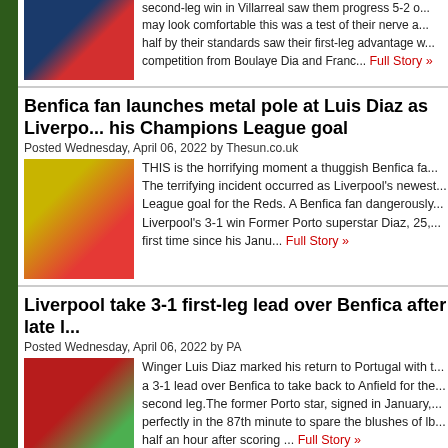[Figure (photo): Soccer player in red kit in front of asterc banner]
second-leg win in Villarreal saw them progress 5-2 o... may look comfortable this was a test of their nerve a... half by their standards saw their first-leg advantage w... competition from Boulaye Dia and Franc...
Full Story »
Benfica fan launches metal pole at Luis Diaz as Liverpo... his Champions League goal
Posted Wednesday, April 06, 2022 by Thesun.co.uk
[Figure (photo): Luis Diaz celebrating in yellow kit, split image]
THIS is the horrifying moment a thuggish Benfica fa... The terrifying incident occurred as Liverpool's newest... League goal for the Reds. A Benfica fan dangerously... Liverpool's 3-1 win Former Porto superstar Diaz, 25,... first time since his Janu...
Full Story »
Liverpool take 3-1 first-leg lead over Benfica after late l...
Posted Wednesday, April 06, 2022 by PA
[Figure (photo): Match action with Heineken branding visible]
Winger Luis Diaz marked his return to Portugal with t... a 3-1 lead over Benfica to take back to Anfield for the... second leg.The former Porto star, signed in January,... perfectly in the 87th minute to spare the blushes of lb... half an hour after scoring ...
Full Story »
Luis Suarez eerily predicted his World Cup qualifying h...